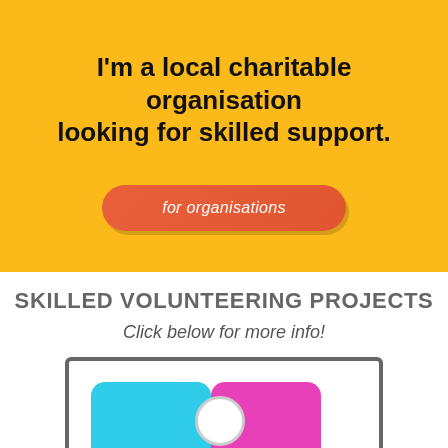I'm a local charitable organisation looking for skilled support.
for organisations
SKILLED VOLUNTEERING PROJECTS
Click below for more info!
[Figure (screenshot): Partial view of a card/tile UI showing two coloured blocks (cyan and pink) with a white circle overlap, inside a grey-bordered rectangle.]